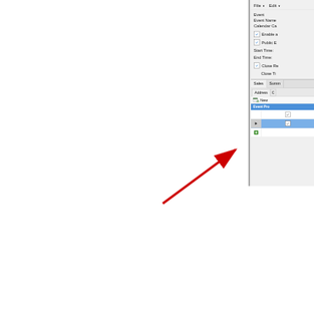[Figure (screenshot): Partial screenshot of an event management software interface. The right side shows a form panel with File and Edit menus, fields for Event, Event Name, Calendar Category, checkboxes for Enable and Public Event, Start Time and End Time fields, Close Registration checkbox and Close Time field. Below is a tabbed section with Sales and Summary tabs, Address sub-tab, a New button with icon, an Event Promo column header in blue, and a grid with checkbox rows, one highlighted row in blue with an arrow icon and checkbox. A red arrow annotation points to the New button area.]